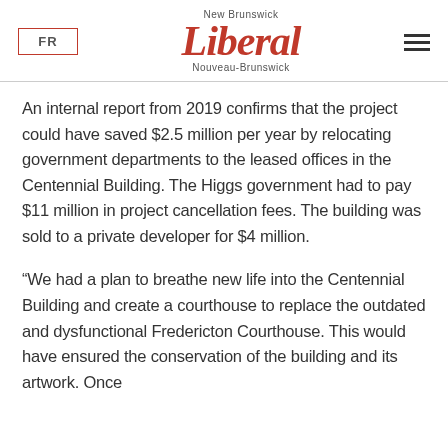FR | New Brunswick Liberal Nouveau-Brunswick
An internal report from 2019 confirms that the project could have saved $2.5 million per year by relocating government departments to the leased offices in the Centennial Building. The Higgs government had to pay $11 million in project cancellation fees. The building was sold to a private developer for $4 million.
“We had a plan to breathe new life into the Centennial Building and create a courthouse to replace the outdated and dysfunctional Fredericton Courthouse. This would have ensured the conservation of the building and its artwork. Once